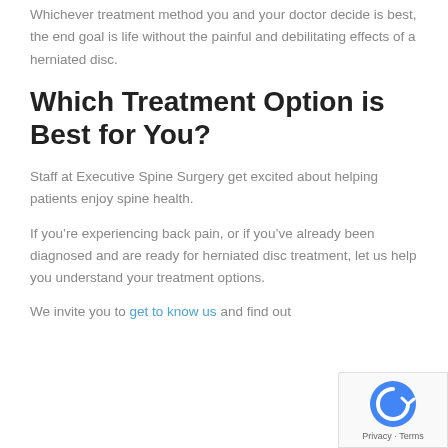Whichever treatment method you and your doctor decide is best, the end goal is life without the painful and debilitating effects of a herniated disc.
Which Treatment Option is Best for You?
Staff at Executive Spine Surgery get excited about helping patients enjoy spine health.
If you’re experiencing back pain, or if you’ve already been diagnosed and are ready for herniated disc treatment, let us help you understand your treatment options.
We invite you to get to know us and find out